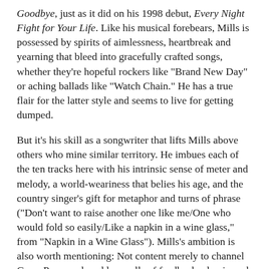Goodbye, just as it did on his 1998 debut, Every Night Fight for Your Life. Like his musical forebears, Mills is possessed by spirits of aimlessness, heartbreak and yearning that bleed into gracefully crafted songs, whether they're hopeful rockers like "Brand New Day" or aching ballads like "Watch Chain." He has a true flair for the latter style and seems to live for getting dumped.
But it's his skill as a songwriter that lifts Mills above others who mine similar territory. He imbues each of the ten tracks here with his intrinsic sense of meter and melody, a world-weariness that belies his age, and the country singer's gift for metaphor and turns of phrase ("Don't want to raise another one like me/One who would fold so easily/Like a napkin in a wine glass," from "Napkin in a Wine Glass"). Mills's ambition is also worth mentioning: Not content merely to channel Gram Parsons, he adds squalls of feedback, classic rock overtures and Spectorish flourishes to several tracks, and succeeds more often than not. All of which is to